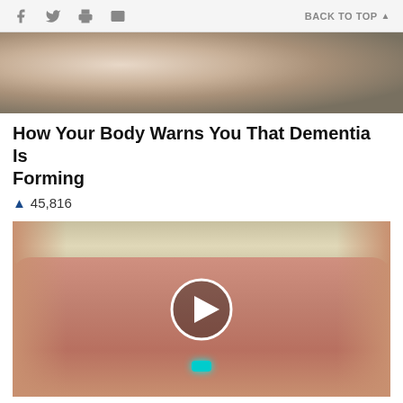f  Twitter  Print  Email    BACK TO TOP ▲
[Figure (photo): Photo of elderly person in bed, possibly with caregiver in background]
How Your Body Warns You That Dementia Is Forming
🔥 45,816
[Figure (photo): Close-up photo of open mouth with tongue out showing a teal/blue pill, with a circular play button overlay indicating a video thumbnail]
4 Worst Blood Pressure Drugs (Avoid At All Costs)